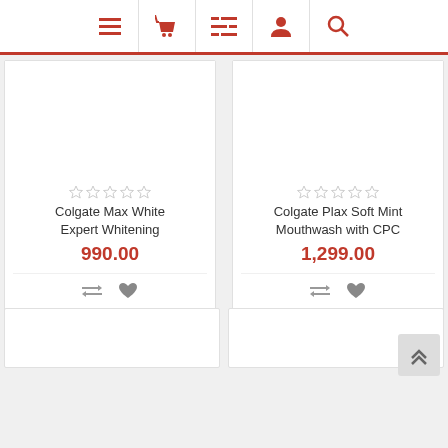[Figure (screenshot): Navigation bar with icons: hamburger menu, shopping basket, list/filter, user account, search]
[Figure (screenshot): Product card: Colgate Max White Expert Whitening, price 990.00, star rating, add to cart button]
[Figure (screenshot): Product card: Colgate Plax Soft Mint Mouthwash with CPC, price 1,299.00, star rating, add to cart button]
[Figure (screenshot): Two partial product cards at the bottom of the page (content cut off)]